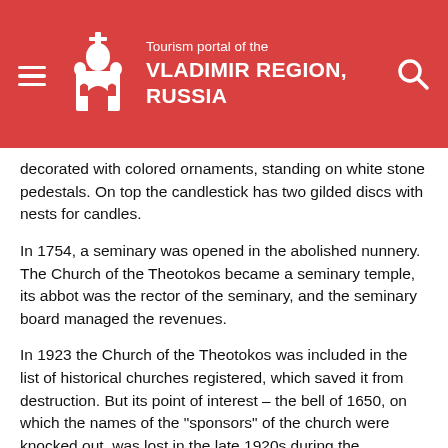Tourism portal of the VLADIMIR REGION, RUSSIA
decorated with colored ornaments, standing on white stone pedestals. On top the candlestick has two gilded discs with nests for candles.
In 1754, a seminary was opened in the abolished nunnery. The Church of the Theotokos became a seminary temple, its abbot was the rector of the seminary, and the seminary board managed the revenues.
In 1923 the Church of the Theotokos was included in the list of historical churches registered, which saved it from destruction. But its point of interest – the bell of 1650, on which the names of the "sponsors" of the church were knocked out, was lost in the late 1920s during the destruction of the bells.
The church was restored in 1961 by A.V. and I.A. Stoletovs. In the 1970s, the Vladimir-Suzdal Museum-Reserve (VSMR) received the Church of the Theotokos for operational management. Communications have been brought in, a temperature regime has been set up for keeping museum funds in the church.